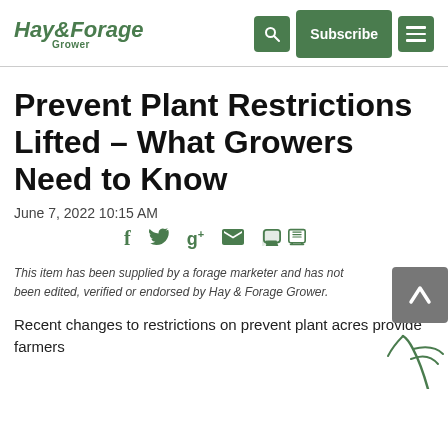Hay & Forage Grower
Prevent Plant Restrictions Lifted – What Growers Need to Know
June 7, 2022 10:15 AM
This item has been supplied by a forage marketer and has not been edited, verified or endorsed by Hay & Forage Grower.
Recent changes to restrictions on prevent plant acres provide farmers